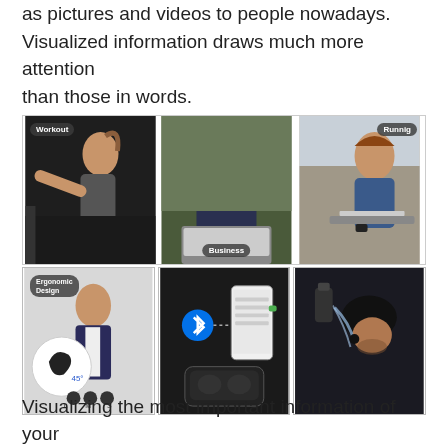as pictures and videos to people nowadays. Visualized information draws much more attention than those in words.
[Figure (photo): Three-panel product lifestyle image showing wireless earbuds use cases: left panel shows a woman working out with label 'Workout', center panel shows a bearded man in business setting with label 'Business', right panel shows a man running/working outdoors with label 'Runnig']
[Figure (photo): Three-panel product feature image: left panel shows earbuds with ergonomic design diagram labeled 'Ergonomic Design', center panel shows wireless earbuds charging case with Bluetooth pairing to smartphone, right panel shows a cyclist drinking water while wearing earbuds]
Visualizing the most important information of your